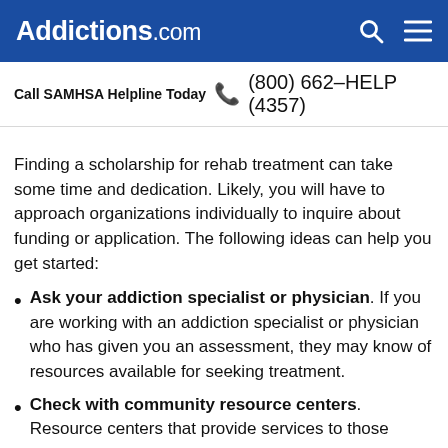Addictions.com
Call SAMHSA Helpline Today  (800) 662-HELP (4357)
Finding a scholarship for rehab treatment can take some time and dedication. Likely, you will have to approach organizations individually to inquire about funding or application. The following ideas can help you get started:
Ask your addiction specialist or physician. If you are working with an addiction specialist or physician who has given you an assessment, they may know of resources available for seeking treatment.
Check with community resource centers. Resource centers that provide services to those...